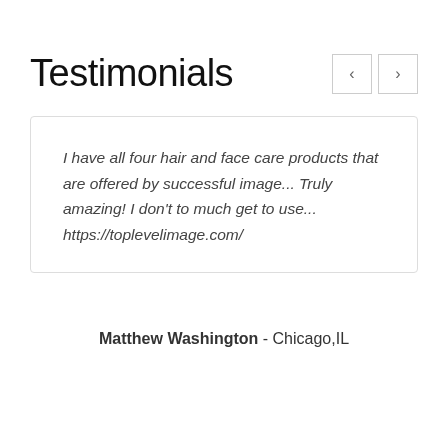Testimonials
I have all four hair and face care products that are offered by successful image... Truly amazing! I don't to much get to use... https://toplevelimage.com/
Matthew Washington - Chicago,IL